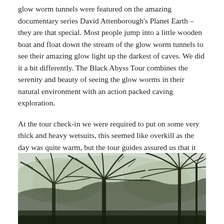glow worm tunnels were featured on the amazing documentary series David Attenborough's Planet Earth – they are that special. Most people jump into a little wooden boat and float down the stream of the glow worm tunnels to see their amazing glow light up the darkest of caves. We did it a bit differently. The Black Abyss Tour combines the serenity and beauty of seeing the glow worms in their natural environment with an action packed caving exploration.
At the tour check-in we were required to put on some very thick and heavy wetsuits, this seemed like overkill as the day was quite warm, but the tour guides assured us that it would be extremely cold within the caves.
[Figure (photo): Photo of tropical fern trees with large fronds silhouetted against a pale overcast sky, taken from below looking upward.]